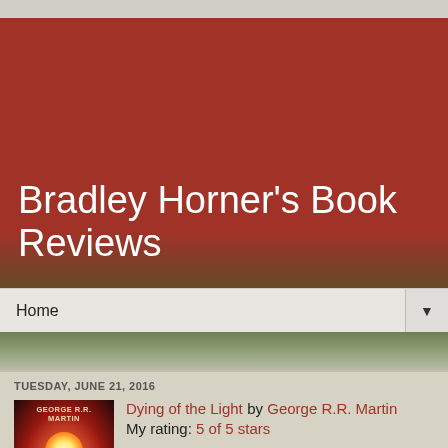Bradley Horner's Book Reviews
Home
TUESDAY, JUNE 21, 2016
[Figure (photo): Book cover of 'Dying of the Light' by George R.R. Martin — dark cover with a glowing red/white light against a dark background]
Dying of the Light by George R.R. Martin
My rating: 5 of 5 stars

I had absolutely no issues in giving this a full 5 star rating, because even though the novel was nominated in '78 for the Hugo, that it comes out of the mind of one of the more well-beloved SF/F authors of our